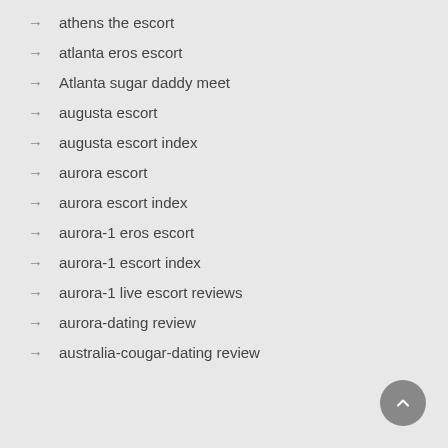athens the escort
atlanta eros escort
Atlanta sugar daddy meet
augusta escort
augusta escort index
aurora escort
aurora escort index
aurora-1 eros escort
aurora-1 escort index
aurora-1 live escort reviews
aurora-dating review
australia-cougar-dating review